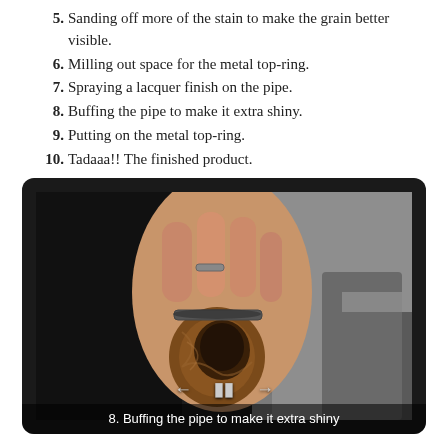5. Sanding off more of the stain to make the grain better visible.
6. Milling out space for the metal top-ring.
7. Spraying a lacquer finish on the pipe.
8. Buffing the pipe to make it extra shiny.
9. Putting on the metal top-ring.
10. Tadaaa!! The finished product.
[Figure (screenshot): A video screenshot showing a hand holding a wooden pipe bowl being buffed, with video playback controls (back, pause, forward) visible and subtitle text reading '8. Buffing the pipe to make it extra shiny' at the bottom, all framed in a dark rounded rectangle.]